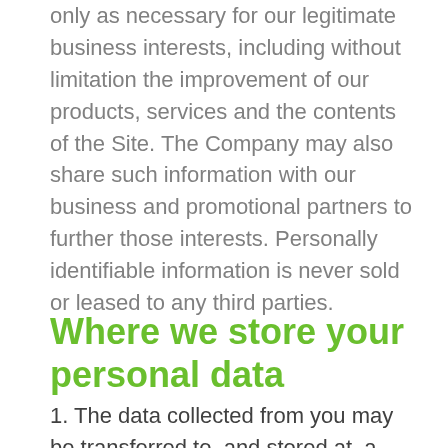only as necessary for our legitimate business interests, including without limitation the improvement of our products, services and the contents of the Site. The Company may also share such information with our business and promotional partners to further those interests. Personally identifiable information is never sold or leased to any third parties.
Where we store your personal data
1. The data collected from you may be transferred to, and stored at, a destination